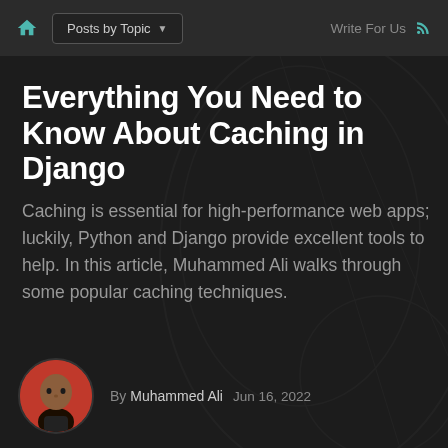Posts by Topic | Write For Us
Everything You Need to Know About Caching in Django
Caching is essential for high-performance web apps; luckily, Python and Django provide excellent tools to help. In this article, Muhammed Ali walks through some popular caching techniques.
By Muhammed Ali  Jun 16, 2022